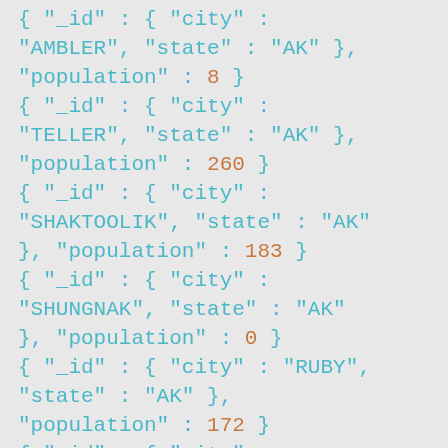{ "_id" : { "city" : "AMBLER", "state" : "AK" }, "population" : 8 } { "_id" : { "city" : "TELLER", "state" : "AK" }, "population" : 260 } { "_id" : { "city" : "SHAKTOOLIK", "state" : "AK" }, "population" : 183 } { "_id" : { "city" : "SHUNGNAK", "state" : "AK" }, "population" : 0 } { "_id" : { "city" : "RUBY", "state" : "AK" }, "population" : 172 } { "_id" : { "city" : "NULATO", "state" : "AK" }, "population" : 492 } { "_id" : { "city" :